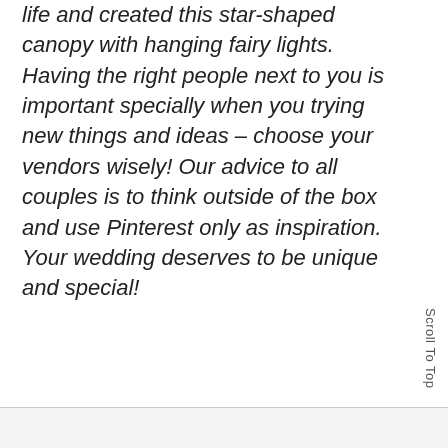life and created this star-shaped canopy with hanging fairy lights. Having the right people next to you is important specially when you trying new things and ideas – choose your vendors wisely! Our advice to all couples is to think outside of the box and use Pinterest only as inspiration. Your wedding deserves to be unique and special!
Scroll To Top